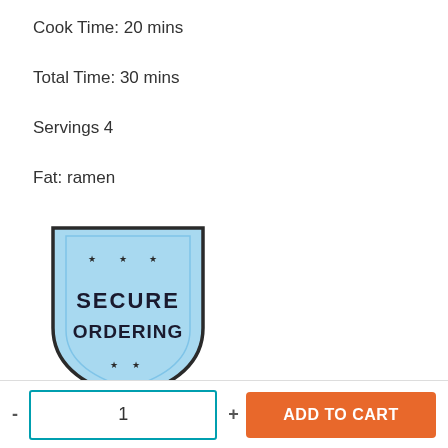Cook Time: 20 mins
Total Time: 30 mins
Servings 4
Fat: ramen
[Figure (logo): Secure Ordering badge - shield shape with light blue fill, dark border, stars at top and bottom, text reads SECURE ORDERING in bold dark letters]
Save  Tweet
- 1 + ADD TO CART